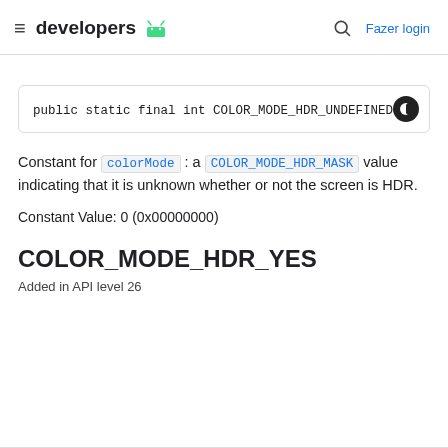≡ developers 🤖   🔍 Fazer login
Constant for colorMode : a COLOR_MODE_HDR_MASK value indicating that it is unknown whether or not the screen is HDR.
Constant Value: 0 (0x00000000)
COLOR_MODE_HDR_YES
Added in API level 26